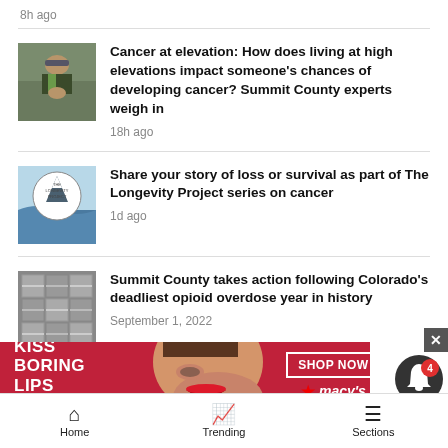8h ago
Cancer at elevation: How does living at high elevations impact someone's chances of developing cancer? Summit County experts weigh in — 18h ago
Share your story of loss or survival as part of The Longevity Project series on cancer — 1d ago
Summit County takes action following Colorado's deadliest opioid overdose year in history — September 1, 2022
[Figure (screenshot): Macy's advertisement banner: KISS BORING LIPS GOODBYE with SHOP NOW button and woman's face]
Home | Trending | Sections